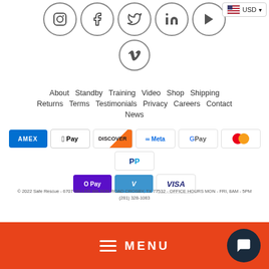[Figure (infographic): Social media icons in circles: Instagram, Facebook, Twitter, LinkedIn, YouTube (top row), Vimeo (bottom row centered)]
About   Standby   Training   Video   Shop   Shipping
Returns   Terms   Testimonials   Privacy   Careers   Contact
News
[Figure (infographic): Payment method icons: Amex, Apple Pay, Discover, Meta, G Pay, Mastercard, PayPal, O Pay, Venmo, Visa]
© 2022 Safe Rescue - 6707 MILLER WILSON ROAD CROSBY, TX 77532 - OFFICE HOURS MON - FRI, 8AM - 5PM
(281) 328-1083
[Figure (infographic): Orange bottom bar with hamburger menu icon and MENU text, dark circular chat button on right, USD currency selector top-right]